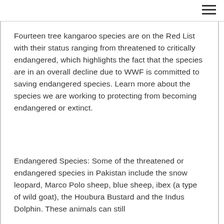Fourteen tree kangaroo species are on the Red List with their status ranging from threatened to critically endangered, which highlights the fact that the species are in an overall decline due to WWF is committed to saving endangered species. Learn more about the species we are working to protecting from becoming endangered or extinct.
Endangered Species: Some of the threatened or endangered species in Pakistan include the snow leopard, Marco Polo sheep, blue sheep, ibex (a type of wild goat), the Houbura Bustard and the Indus Dolphin. These animals can still